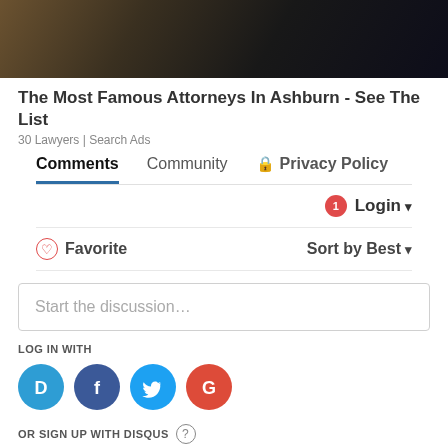[Figure (photo): Partial photo of a person in dark clothing, cropped at top of page]
The Most Famous Attorneys In Ashburn - See The List
30 Lawyers | Search Ads
Comments  Community  🔒 Privacy Policy
Login ▾
♡ Favorite   Sort by Best ▾
Start the discussion…
LOG IN WITH
[Figure (logo): Social login icons: Disqus (D), Facebook (f), Twitter bird, Google (G)]
OR SIGN UP WITH DISQUS ?
Name